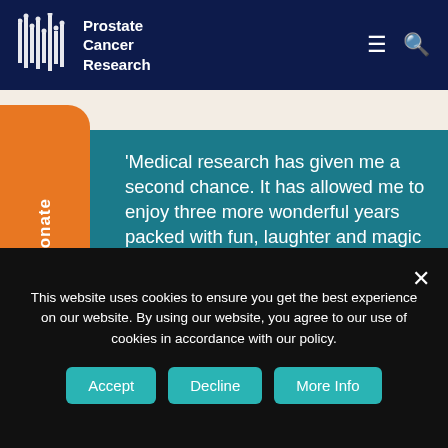[Figure (logo): Prostate Cancer Research logo with DNA-style bars and white text on navy background]
[Figure (infographic): Orange donate button with vertical 'Donate' text and heart icon]
'Medical research has given me a second chance. It has allowed me to enjoy three more wonderful years packed with fun, laughter and magic memories.'
Your support will directly fund research into new and better treatments for people like Peter with advance prostate cancer.
This website uses cookies to ensure you get the best experience on our website. By using our website, you agree to our use of cookies in accordance with our policy.